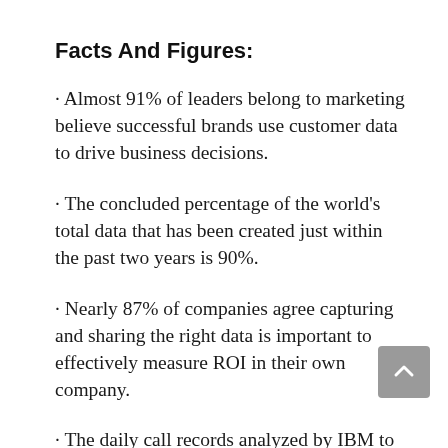Facts And Figures:
· Almost 91% of leaders belong to marketing believe successful brands use customer data to drive business decisions.
· The concluded percentage of the world's total data that has been created just within the past two years is 90%.
· Nearly 87% of companies agree capturing and sharing the right data is important to effectively measure ROI in their own company.
· The daily call records analyzed by IBM to predict the customer's churns are 500